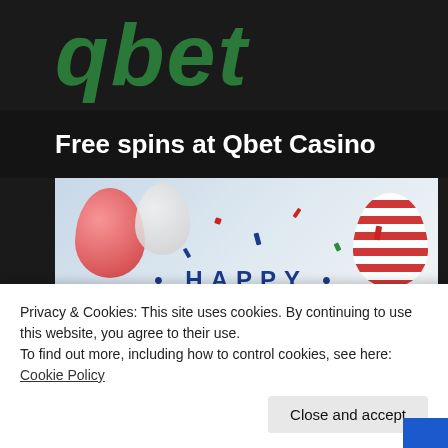[Figure (screenshot): Qbet Casino logo in green italic letters on dark background with 'Free spins at Qbet Casino' white text overlay]
[Figure (photo): 4th of July Independence Day promotional banner with red, white, and blue balloons and confetti, text 'HAPPY 4th of July' and 'US Independence Day Casino Coupon Codes']
Privacy & Cookies: This site uses cookies. By continuing to use this website, you agree to their use.
To find out more, including how to control cookies, see here: Cookie Policy
Close and accept